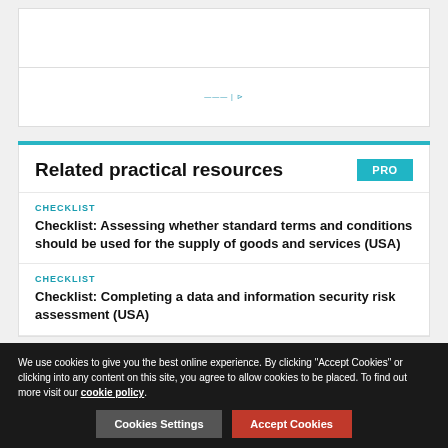[Figure (other): White box area with a small logo/link text in the center, appears to be a webpage section placeholder]
Related practical resources
CHECKLIST
Checklist: Assessing whether standard terms and conditions should be used for the supply of goods and services (USA)
CHECKLIST
Checklist: Completing a data and information security risk assessment (USA)
We use cookies to give you the best online experience. By clicking "Accept Cookies" or clicking into any content on this site, you agree to allow cookies to be placed. To find out more visit our cookie policy